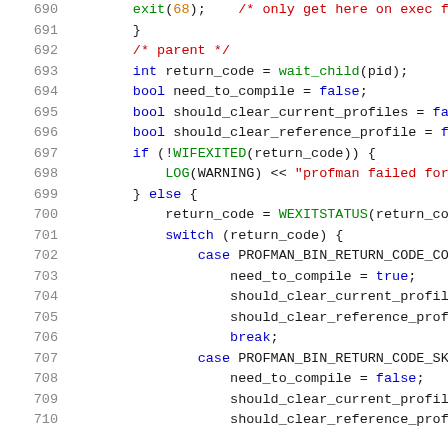[Figure (screenshot): Source code listing showing C++ code lines 690-710 with syntax highlighting. Line numbers in gray on left margin. Keywords in blue, string literals in red, function calls in green, numeric literals in orange.]